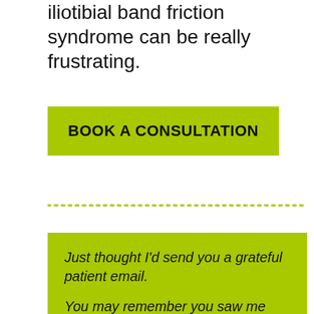iliotibial band friction syndrome can be really frustrating.
BOOK A CONSULTATION
Just thought I'd send you a grateful patient email.
You may remember you saw me back in October when I was suffering from a meniscus tear in my right knee and what turned out to be a cyst.  We decided not to operate on the tear but we aspirated the cyst and injected the